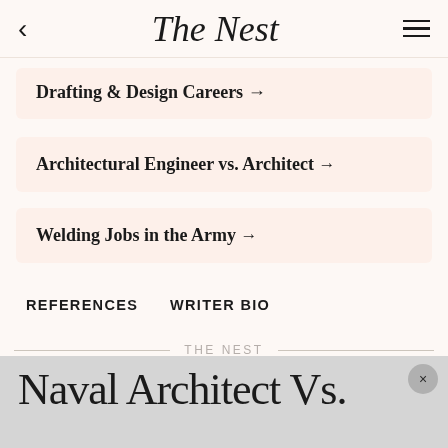The Nest
Drafting & Design Careers →
Architectural Engineer vs. Architect →
Welding Jobs in the Army →
REFERENCES   WRITER BIO
THE NEST
Naval Architect Vs.